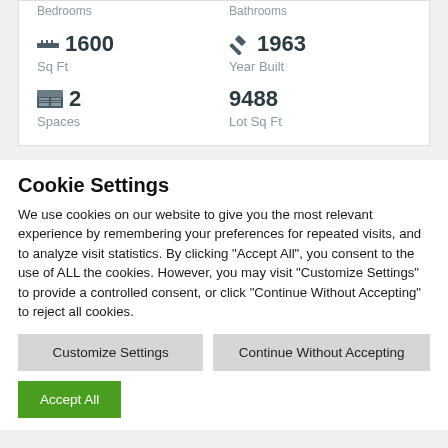Bedrooms
Bathrooms
1600 Sq Ft
1963 Year Built
2 Spaces
9488 Lot Sq Ft
Cookie Settings
We use cookies on our website to give you the most relevant experience by remembering your preferences for repeated visits, and to analyze visit statistics. By clicking "Accept All", you consent to the use of ALL the cookies. However, you may visit "Customize Settings" to provide a controlled consent, or click "Continue Without Accepting" to reject all cookies.
Customize Settings
Continue Without Accepting
Accept All